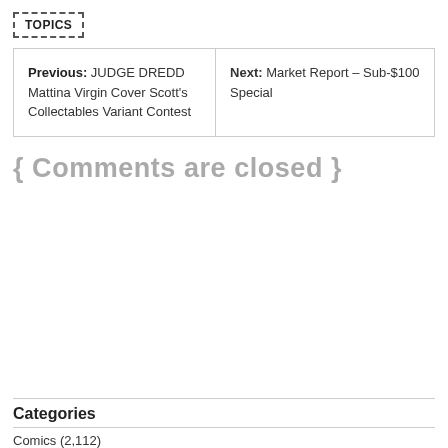TOPICS
| Previous | Next |
| --- | --- |
| Previous: JUDGE DREDD Mattina Virgin Cover Scott's Collectables Variant Contest | Next: Market Report – Sub-$100 Special |
{ Comments are closed }
Categories
Comics (2,112)